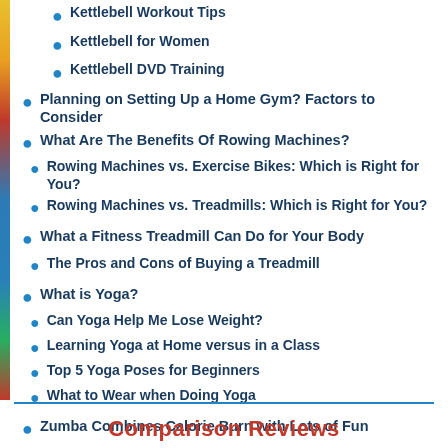Kettlebell Workout Tips
Kettlebell for Women
Kettlebell DVD Training
Planning on Setting Up a Home Gym? Factors to Consider
What Are The Benefits Of Rowing Machines?
Rowing Machines vs. Exercise Bikes: Which is Right for You?
Rowing Machines vs. Treadmills: Which is Right for You?
What a Fitness Treadmill Can Do for Your Body
The Pros and Cons of Buying a Treadmill
What is Yoga?
Can Yoga Help Me Lose Weight?
Learning Yoga at Home versus in a Class
Top 5 Yoga Poses for Beginners
What to Wear when Doing Yoga
Zumba Combines Calorie Burn with Lots of Fun
Comparison Reviews